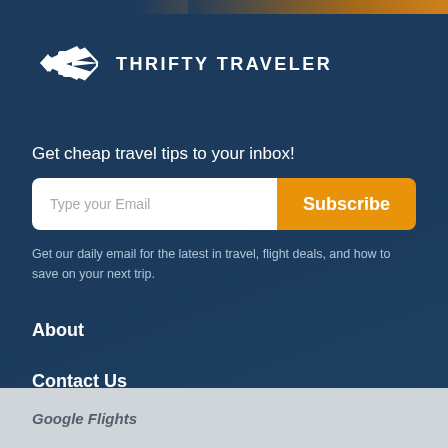[Figure (logo): Thrifty Traveler logo with airplane icon and text THRIFTY TRAVELER]
Get cheap travel tips to your inbox!
Type your Email
Subscribe
Get our daily email for the latest in travel, flight deals, and how to save on your next trip.
About
Contact Us
Google Flights